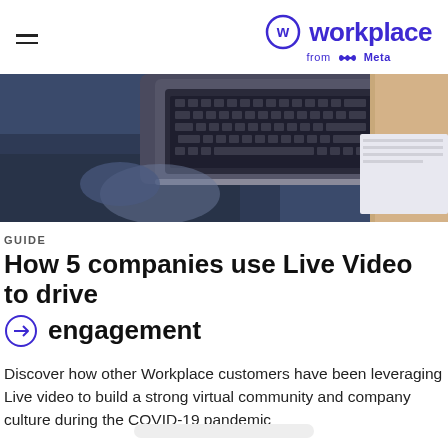Workplace from Meta
[Figure (photo): Person using a laptop computer, viewed from above at an angle, dark blue background with keyboard visible]
GUIDE
How 5 companies use Live Video to drive engagement
Discover how other Workplace customers have been leveraging Live video to build a strong virtual community and company culture during the COVID-19 pandemic